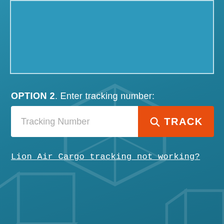[Figure (screenshot): Partially visible blue bordered box at top of page, representing an Option 1 tracking interface above the fold]
OPTION 2. Enter tracking number:
[Figure (screenshot): Search input field labeled 'Tracking Number' with an orange TRACK button containing a magnifying glass icon]
Lion Air Cargo tracking not working?